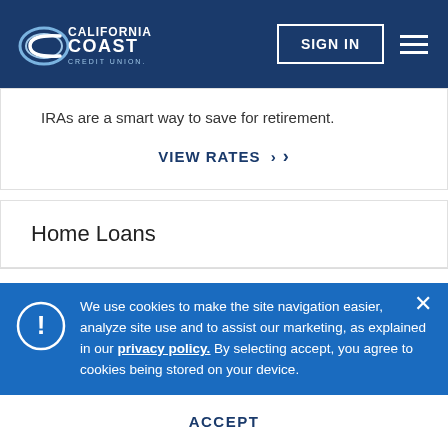[Figure (logo): California Coast Credit Union logo — white text and swoosh graphic on dark blue background]
IRAs are a smart way to save for retirement.
VIEW RATES ›
Home Loans
We use cookies to make the site navigation easier, analyze site use and to assist our marketing, as explained in our privacy policy. By selecting accept, you agree to cookies being stored on your device.
ACCEPT